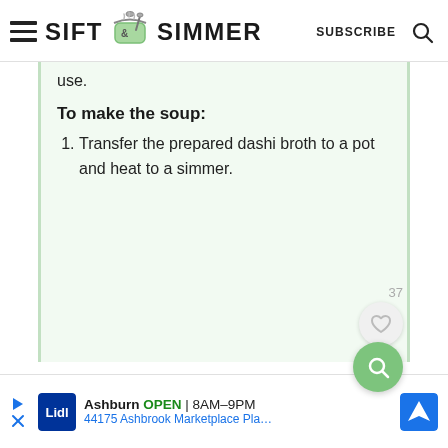Sift & Simmer | SUBSCRIBE
use.
To make the soup:
1. Transfer the prepared dashi broth to a pot and heat to a simmer.
[Figure (other): Advertisement banner: Lidl store in Ashburn, OPEN 8AM-9PM, 44175 Ashbrook Marketplace Pla...]